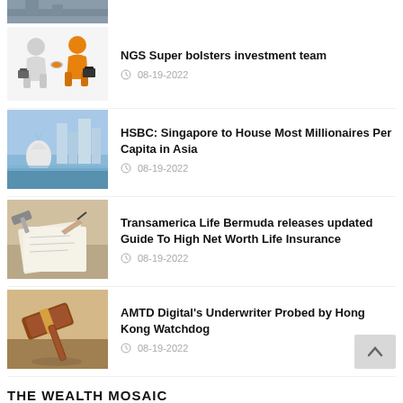[Figure (photo): Partial top image cropped - city/bridge scene]
NGS Super bolsters investment team
08-19-2022
[Figure (illustration): Two cartoon figures shaking hands, one white one orange, both carrying briefcases]
HSBC: Singapore to House Most Millionaires Per Capita in Asia
08-19-2022
[Figure (photo): Singapore Merlion statue with city skyline in background]
Transamerica Life Bermuda releases updated Guide To High Net Worth Life Insurance
08-19-2022
[Figure (photo): Person signing document with gavel/court setting]
AMTD Digital's Underwriter Probed by Hong Kong Watchdog
08-19-2022
[Figure (photo): Wooden judge's gavel on table]
THE WEALTH MOSAIC